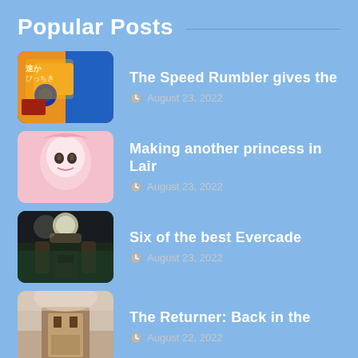Popular Posts
The Speed Rumbler gives the | August 23, 2022
Making another princess in Lair | August 23, 2022
Six of the best Evercade | August 23, 2022
The Returner: Back in the | August 22, 2022
Links